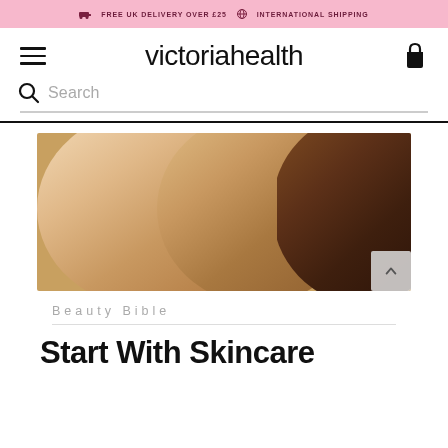🚚 FREE UK DELIVERY OVER £25 🌐 INTERNATIONAL SHIPPING
victoriahealth
Search
[Figure (photo): Side profile view of three women with different skin tones (light, medium, dark) facing left, showing diversity in skincare]
Beauty Bible
Start With Skincare